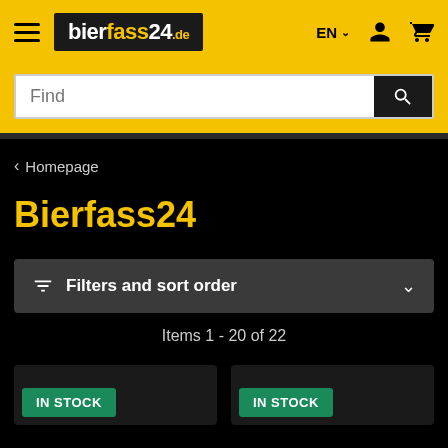bierfass24.de — EN — navigation header with hamburger menu, logo, language selector, user icon, cart icon
Find
‹ Homepage
Bierfass24
Filters and sort order
Items 1 - 20 of 22
IN STOCK
IN STOCK